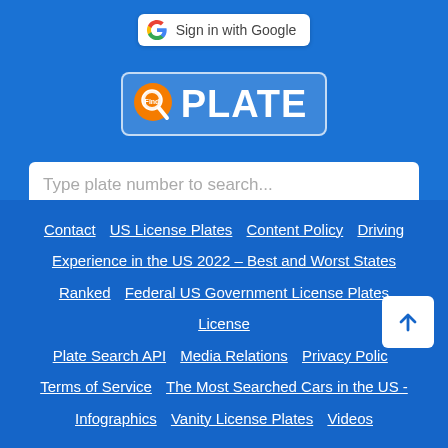[Figure (logo): FindMyPlate logo with orange magnifying glass circle icon and white PLATE text on blue background]
Sign in with Google
Type plate number to search...
Virginia
Contact  US License Plates  Content Policy  Driving Experience in the US 2022 – Best and Worst States Ranked  Federal US Government License Plates  License Plate Search API  Media Relations  Privacy Policy  Terms of Service  The Most Searched Cars in the US - Infographics  Vanity License Plates  Videos